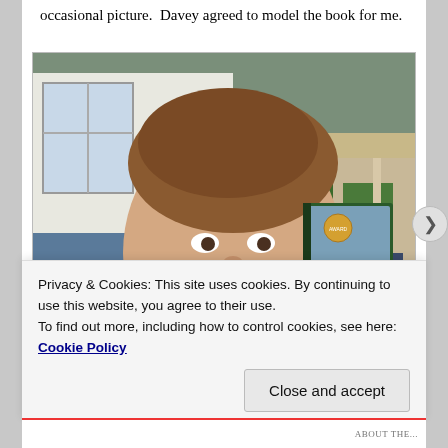occasional picture.  Davey agreed to model the book for me.
[Figure (photo): A young boy smiling, holding up a book titled 'The Lucky Frigate', wearing a red and navy 'FOOTBALL' shirt, standing outside near a house and green lawn.]
Privacy & Cookies: This site uses cookies. By continuing to use this website, you agree to their use.
To find out more, including how to control cookies, see here: Cookie Policy
Close and accept